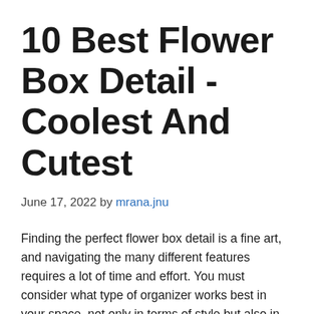10 Best Flower Box Detail - Coolest And Cutest
June 17, 2022 by mrana.jnu
Finding the perfect flower box detail is a fine art, and navigating the many different features requires a lot of time and effort. You must consider what type of organizer works best in your space, not only in terms of style but also in terms of what will fit.